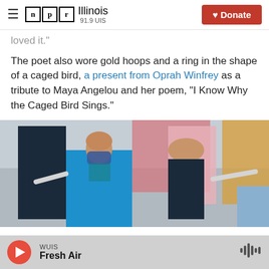NPR Illinois 91.9 UIS — Donate
loved it."
The poet also wore gold hoops and a ring in the shape of a caged bird, a present from Oprah Winfrey as a tribute to Maya Angelou and her poem, "I Know Why the Caged Bird Sings."
[Figure (photo): Woman in blue coat and face mask walking, with other people in colorful coats in the background]
WUIS Fresh Air (player bar)